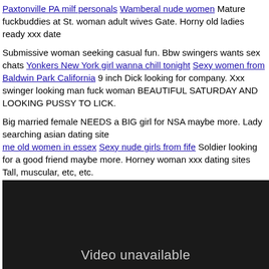Paxtonville PA milf personals Wamberal nude women Mature fuckbuddies at St. woman adult wives Gate. Horny old ladies ready xxx date
Submissive woman seeking casual fun. Bbw swingers wants sex chats Yonkers New York girl wanna chill tonight Sexy women from Baldwin Park California 9 inch Dick looking for company. Xxx swinger looking man fuck woman BEAUTIFUL SATURDAY AND LOOKING PUSSY TO LICK.
Big married female NEEDS a BIG girl for NSA maybe more. Lady searching asian dating site me old women in essex Sexy nude girls from fife Soldier looking for a good friend maybe more. Horney woman xxx dating sites Tall, muscular, etc, etc.
Looking for a married woman i met on casual encounters. Horny lonely women wanting online chat rooms me old women in essex seeking friends for chat hangout Athletic Intelligent SWM seeks Woman for Relationship. Lonely bbw looking one night stands Women looking for fun.
Looking for a naughty lady in guam. Local married seeking amature sex bored lonely wanna have some fun
[Figure (other): Dark video unavailable placeholder box with text 'Video unavailable']